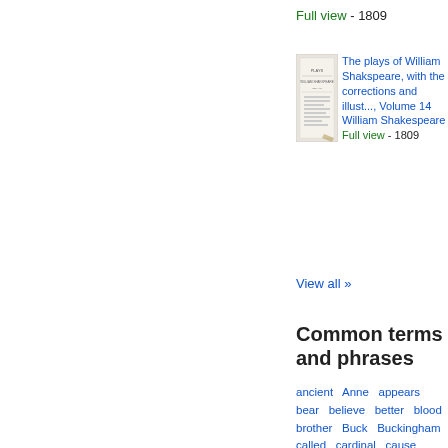Full view - 1809
[Figure (illustration): Thumbnail of book cover for The plays of William Shakspeare, Volume 14]
The plays of William Shakspeare, with the corrections and illust..., Volume 14
William Shakespeare
Full view - 1809
View all »
Common terms and phrases
ancient  Anne  appears  bear  believe  better  blood  brother  Buck  Buckingham  called  cardinal  cause  Clarence  copy  daughter  dead  death  duke  Earl  edition  editors  Edward